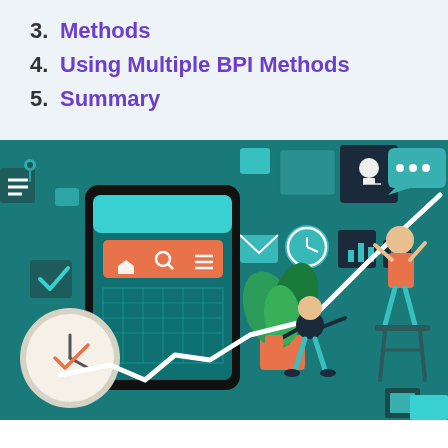Methods
4. Using Multiple BPI Methods
5. Summary
[Figure (illustration): Business process improvement illustration showing a smartphone with app icons, floating UI elements (lightbulb, clock, chat, mail, analytics icons), a rising white line chart, a person in orange pushing up the chart line, and another person in orange/teal carrying or holding the chart, with teal background and plant motifs.]